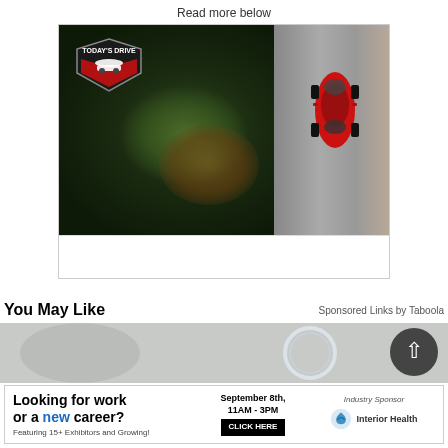Read more below
[Figure (photo): Aerial view of a red sports car driving on a road through an autumn forest, with Today's Drive logo in top-left corner]
You May Like
Sponsored Links by Taboola
[Figure (photo): Blurred promotional image with a circular arrow/chevron icon and a dark scroll-to-top button]
[Figure (other): Advertisement banner: Looking for work or a new career? Featuring 15+ Exhibitors and Growing! September 8th, 11AM-3PM CLICK HERE. Industry Sponsor: Interior Health]